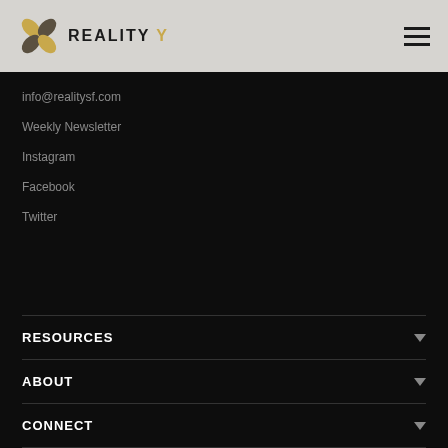[Figure (logo): Reality Y logo with decorative leaf/petal icon and wordmark 'REALITY Y' in bold serif/sans text, plus hamburger menu icon on the right]
info@realitysf.com
Weekly Newsletter
Instagram
Facebook
Twitter
RESOURCES
ABOUT
CONNECT